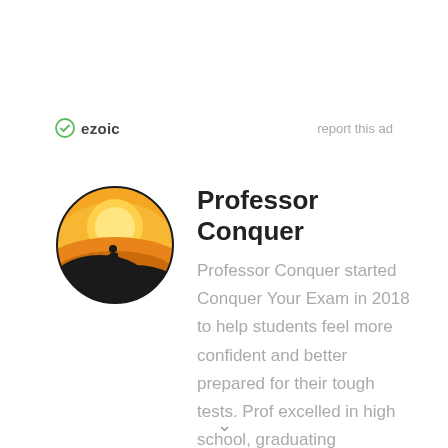[Figure (logo): Ezoic logo with green circular check icon and bold 'ezoic' text; 'report this ad' link to the right]
Professor Conquer
[Figure (illustration): Circular avatar image with orange/yellow gradient sunset background and silhouette of a hiker on a cliff]
Professor Conquer started Conquer Your Exam in 2018 to help students feel more confident and better prepared for their tough tests. Prof excelled in high school, graduating